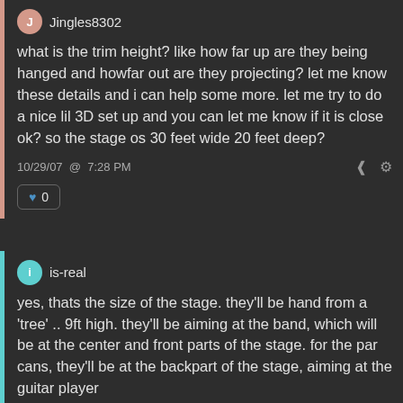Jingles8302
what is the trim height? like how far up are they being hanged and howfar out are they projecting? let me know these details and i can help some more. let me try to do a nice lil 3D set up and you can let me know if it is close ok? so the stage os 30 feet wide 20 feet deep?
10/29/07  @  7:28 PM
0
is-real
yes, thats the size of the stage. they'll be hand from a 'tree' .. 9ft high. they'll be aiming at the band, which will be at the center and front parts of the stage. for the par cans, they'll be at the backpart of the stage, aiming at the guitar player